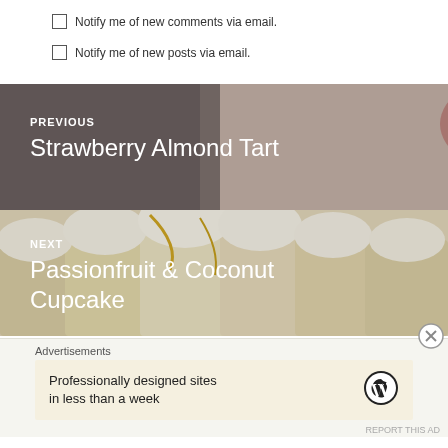Notify me of new comments via email.
Notify me of new posts via email.
[Figure (photo): Navigation panel showing two food blog post previews: PREVIOUS - Strawberry Almond Tart (image of a strawberry tart with fresh strawberries) and NEXT - Passionfruit & Coconut Cupcake (image of cupcakes with white frosting and passionfruit drizzle)]
Advertisements
Professionally designed sites in less than a week